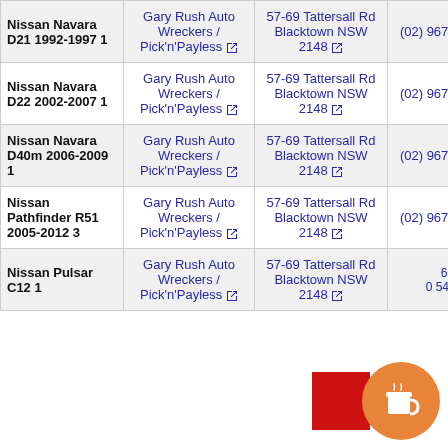| Vehicle | Wrecker | Address | Phone |
| --- | --- | --- | --- |
| Nissan Navara D21 1992-1997 1 | Gary Rush Auto Wreckers / Pick'n'Payless | 57-69 Tattersall Rd Blacktown NSW 2148 | (02) 9676 5499 |
| Nissan Navara D22 2002-2007 1 | Gary Rush Auto Wreckers / Pick'n'Payless | 57-69 Tattersall Rd Blacktown NSW 2148 | (02) 9676 5499 |
| Nissan Navara D40m 2006-2009 1 | Gary Rush Auto Wreckers / Pick'n'Payless | 57-69 Tattersall Rd Blacktown NSW 2148 | (02) 9676 5499 |
| Nissan Pathfinder R51 2005-2012 3 | Gary Rush Auto Wreckers / Pick'n'Payless | 57-69 Tattersall Rd Blacktown NSW 2148 | (02) 9676 5499 |
| Nissan Pulsar C12 1 | Gary Rush Auto Wreckers / Pick'n'Payless | 57-69 Tattersall Rd Blacktown NSW 2148 | (02) 9676 5499 |